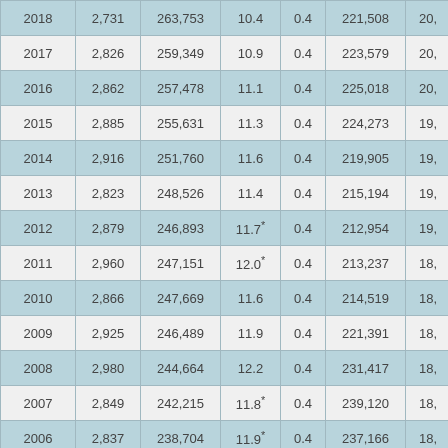| Year | Col2 | Col3 | Col4 | Col5 | Col6 | Col7 |
| --- | --- | --- | --- | --- | --- | --- |
| 2018 | 2,731 | 263,753 | 10.4 | 0.4 | 221,508 | 20, |
| 2017 | 2,826 | 259,349 | 10.9 | 0.4 | 223,579 | 20, |
| 2016 | 2,862 | 257,478 | 11.1 | 0.4 | 225,018 | 20, |
| 2015 | 2,885 | 255,631 | 11.3 | 0.4 | 224,273 | 19, |
| 2014 | 2,916 | 251,760 | 11.6 | 0.4 | 219,905 | 19, |
| 2013 | 2,823 | 248,526 | 11.4 | 0.4 | 215,194 | 19, |
| 2012 | 2,879 | 246,893 | 11.7* | 0.4 | 212,954 | 19, |
| 2011 | 2,960 | 247,151 | 12.0* | 0.4 | 213,237 | 18, |
| 2010 | 2,866 | 247,669 | 11.6 | 0.4 | 214,519 | 18, |
| 2009 | 2,925 | 246,489 | 11.9 | 0.4 | 221,391 | 18, |
| 2008 | 2,980 | 244,664 | 12.2 | 0.4 | 231,417 | 18, |
| 2007 | 2,849 | 242,215 | 11.8* | 0.4 | 239,120 | 18, |
| 2006 | 2,837 | 238,704 | 11.9* | 0.4 | 237,166 | 18, |
| 2005 | 2,690 | 233,859 | 11.5* | 0.4 | 226,219 | 17, |
| 2004 | 2,607 | 229,846 | 11.3* | 0.4 | 218,045 | 17, |
| 2003 | 2,480 | 226,976 | 10.9* | 0.4 | 212,242 | 17, |